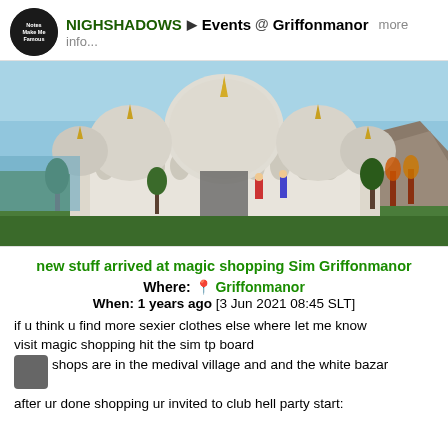NIGHSHADOWS ▶ Events @ Griffonmanor  more
info...
[Figure (screenshot): Screenshot from a virtual world (Second Life) showing a white domed building resembling a mosque or palace with gold spires, surrounded by trees and rocky terrain near water. Several avatar characters are visible near the entrance.]
new stuff arrived at magic shopping Sim Griffonmanor
Where: 📍 Griffonmanor
When: 1 years ago [3 Jun 2021 08:45 SLT]
if u think u find more sexier clothes else where let me know
visit magic shopping hit the sim tp board
shops are in the medival village and and the white bazar
after ur done shopping ur invited to club hell party start: